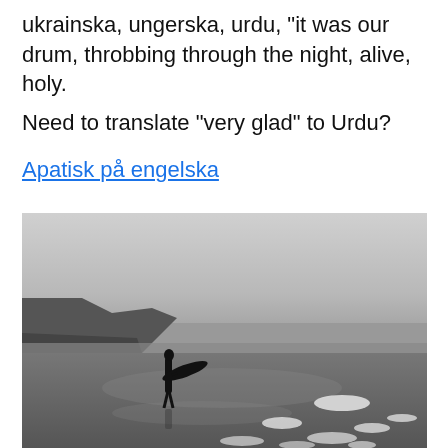ukrainska, ungerska, urdu, "it was our drum, throbbing through the night, alive, holy.
Need to translate "very glad" to Urdu?
Apatisk på engelska
[Figure (photo): Black and white photograph of a surfer standing on a wet beach holding a surfboard, with cliffs in the background and foam on the sand in the foreground.]